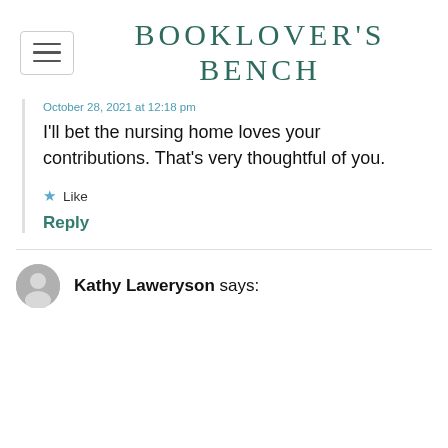BOOKLOVER'S BENCH
October 28, 2021 at 12:18 pm
I'll bet the nursing home loves your contributions. That's very thoughtful of you.
Like
Reply
Kathy Laweryson says: